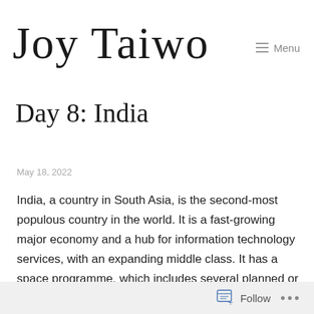Joy Taiwo  ≡ Menu
Day 8: India
May 18, 2022
India, a country in South Asia, is the second-most populous country in the world. It is a fast-growing major economy and a hub for information technology services, with an expanding middle class. It has a space programme, which includes several planned or completed
Follow  ...